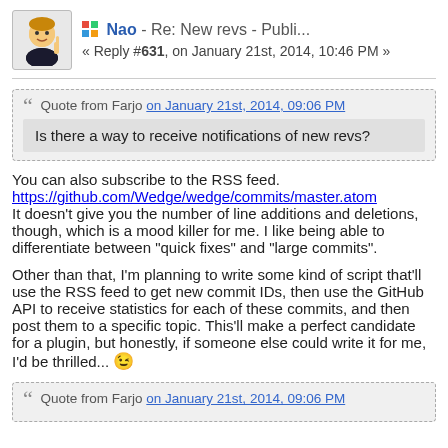Nao - Re: New revs - Publi... « Reply #631, on January 21st, 2014, 10:46 PM »
Quote from Farjo on January 21st, 2014, 09:06 PM
Is there a way to receive notifications of new revs?
You can also subscribe to the RSS feed.
https://github.com/Wedge/wedge/commits/master.atom
It doesn't give you the number of line additions and deletions, though, which is a mood killer for me. I like being able to differentiate between "quick fixes" and "large commits".
Other than that, I'm planning to write some kind of script that'll use the RSS feed to get new commit IDs, then use the GitHub API to receive statistics for each of these commits, and then post them to a specific topic. This'll make a perfect candidate for a plugin, but honestly, if someone else could write it for me, I'd be thrilled... 😉
Quote from Farjo on January 21st, 2014, 09:06 PM